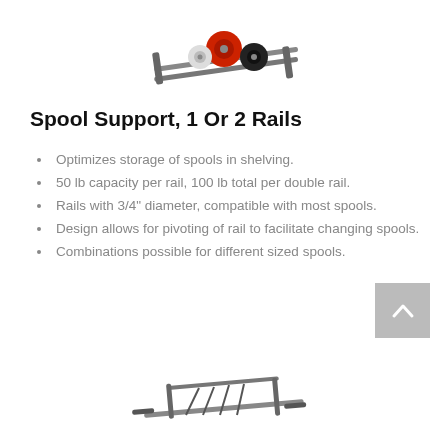[Figure (photo): Spool support rail product image showing a spool holder with red and black spools mounted on a metal frame rail, viewed from an angle above.]
Spool Support, 1 Or 2 Rails
Optimizes storage of spools in shelving.
50 lb capacity per rail, 100 lb total per double rail.
Rails with 3/4" diameter, compatible with most spools.
Design allows for pivoting of rail to facilitate changing spools.
Combinations possible for different sized spools.
[Figure (photo): Spool support rail product image showing an empty double-rail spool holder with wire dividers, mounted on a metal frame, viewed from an angle.]